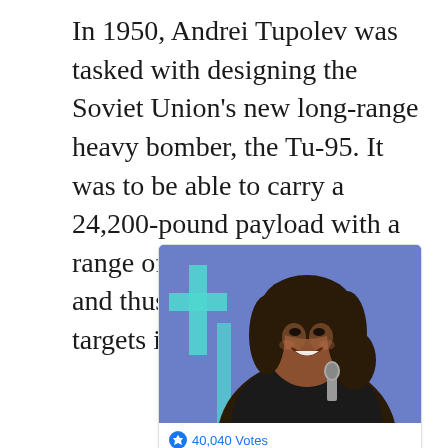In 1950, Andrei Tupolev was tasked with designing the Soviet Union's new long-range heavy bomber, the Tu-95. It was to be able to carry a 24,200-pound payload with a range of nearly 5,000 miles—and thus threaten important targets in the United States.
[Figure (photo): Photo of a woman smiling, wearing a dark blazer, holding a microphone, with a blue background featuring a teal cross/plus symbol. Below the photo is a social media card element.]
40,040 Votes
Was our country doing